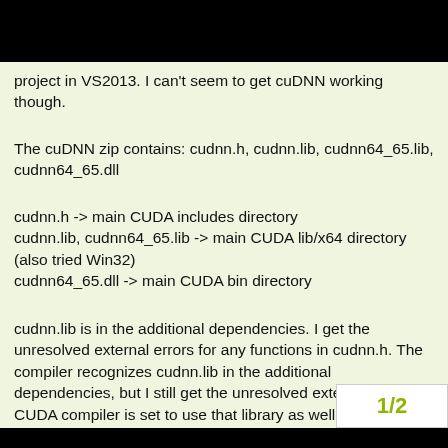project in VS2013. I can't seem to get cuDNN working though.
The cuDNN zip contains: cudnn.h, cudnn.lib, cudnn64_65.lib, cudnn64_65.dll
cudnn.h -> main CUDA includes directory
cudnn.lib, cudnn64_65.lib -> main CUDA lib/x64 directory (also tried Win32)
cudnn64_65.dll -> main CUDA bin directory
cudnn.lib is in the additional dependencies. I get the unresolved external errors for any functions in cudnn.h. The compiler recognizes cudnn.lib in the additional dependencies, but I still get the unresolved externals. The CUDA compiler is set to use that library as well. Adding it to a sample project gives the same error. Anyone know what's going on? I've tried getting it running in an x64 project to see if they 64bit...ifies
libraries, but failed to get nvcc to run th
1/2